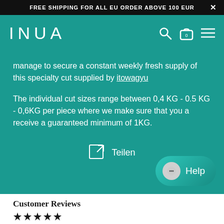FREE SHIPPING FOR ALL EU ORDER ABOVE 100 EUR
[Figure (logo): INUA brand logo in white text on teal background, with search icon, shopping bag icon with 0, and hamburger menu icon on the right]
manage to secure a constant weekly fresh supply of this specialty cut supplied by itowagyu
The individual cut sizes range between 0,4 KG - 0.5 KG - 0,6KG per piece where we make sure that you a receive a guaranteed minimum of 1KG.
Teilen
[Figure (other): Help chat button with chat bubble icon and Help text]
Customer Reviews